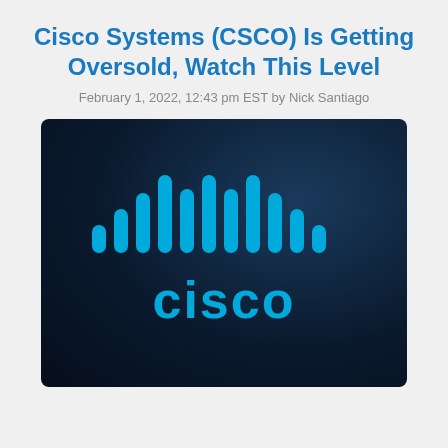Cisco Systems (CSCO) Is Getting Oversold, Watch This Level
February 1, 2022, 12:43 pm EST by Nick Santiago
[Figure (logo): Cisco Systems logo on dark navy blue background — stylized signal bars icon above the word 'cisco' in cyan/blue color]